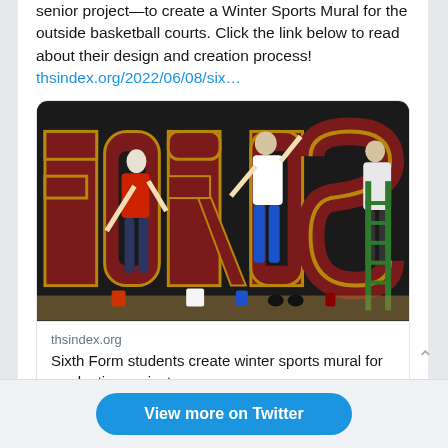senior project—to create a Winter Sports Mural for the outside basketball courts. Click the link below to read about their design and creation process!
thsindex.org/2022/06/08/six…
[Figure (photo): Photo of students painting a large 'FORDS' mural with winter sports athlete figures on a dark background wall]
thsindex.org
Sixth Form students create winter sports mural for graduation project
View more on Twitter